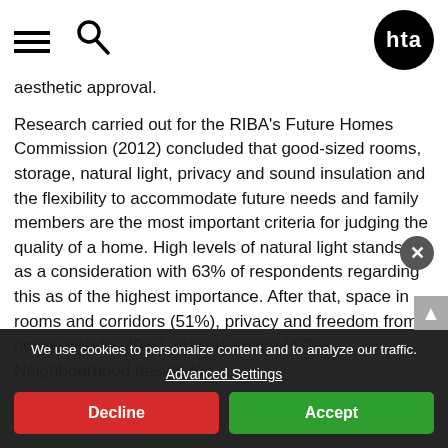HTA [logo with hamburger menu and search icon]
aesthetic approval.
Research carried out for the RIBA's Future Homes Commission (2012) concluded that good-sized rooms, storage, natural light, privacy and sound insulation and the flexibility to accommodate future needs and family members are the most important criteria for judging the quality of a home. High levels of natural light stands out as a consideration with 63% of respondents regarding this as of the highest importance. After that, space in rooms and corridors (51%), privacy and freedom from noise outside (49%), outside space (47%). Neighbourhood design fo...s
We use cookies to personalize content and to analyze our traffic.
Advanced Settings
Decline
Accept